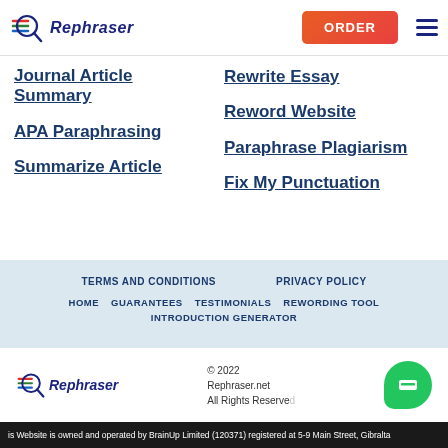Rephraser | ORDER
Journal Article Summary
APA Paraphrasing
Summarize Article
Rewrite Essay
Reword Website
Paraphrase Plagiarism
Fix My Punctuation
TERMS AND CONDITIONS  PRIVACY POLICY  HOME  GUARANTEES  TESTIMONIALS  REWORDING TOOL  INTRODUCTION GENERATOR
© 2022 Rephraser.net All Rights Reserved
is Website is owned and operated by BrainUp Limited (120371) registered at 5-9 Main Street, Gibralta